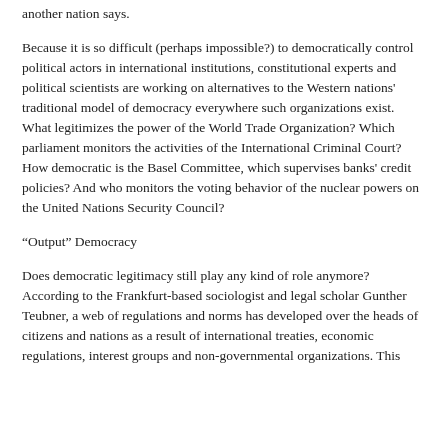another nation says.
Because it is so difficult (perhaps impossible?) to democratically control political actors in international institutions, constitutional experts and political scientists are working on alternatives to the Western nations' traditional model of democracy everywhere such organizations exist. What legitimizes the power of the World Trade Organization? Which parliament monitors the activities of the International Criminal Court? How democratic is the Basel Committee, which supervises banks' credit policies? And who monitors the voting behavior of the nuclear powers on the United Nations Security Council?
“Output” Democracy
Does democratic legitimacy still play any kind of role anymore? According to the Frankfurt-based sociologist and legal scholar Gunther Teubner, a web of regulations and norms has developed over the heads of citizens and nations as a result of international treaties, economic regulations, interest groups and non-governmental organizations. This